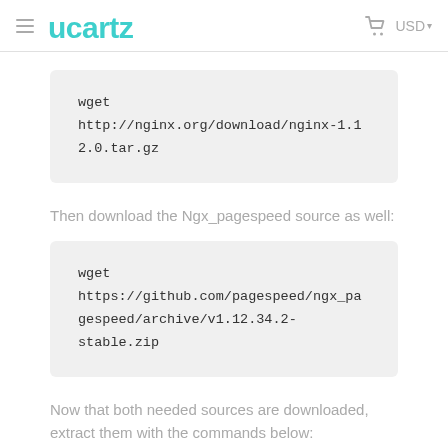Ucartz  USD
wget http://nginx.org/download/nginx-1.12.0.tar.gz
Then download the Ngx_pagespeed source as well:
wget https://github.com/pagespeed/ngx_pagespeed/archive/v1.12.34.2-stable.zip
Now that both needed sources are downloaded, extract them with the commands below: